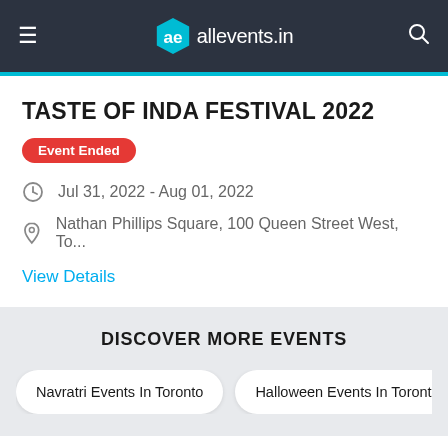allevents.in
TASTE OF INDA FESTIVAL 2022
Event Ended
Jul 31, 2022 - Aug 01, 2022
Nathan Phillips Square, 100 Queen Street West, To...
View Details
DISCOVER MORE EVENTS
Navratri Events In Toronto
Halloween Events In Toronto